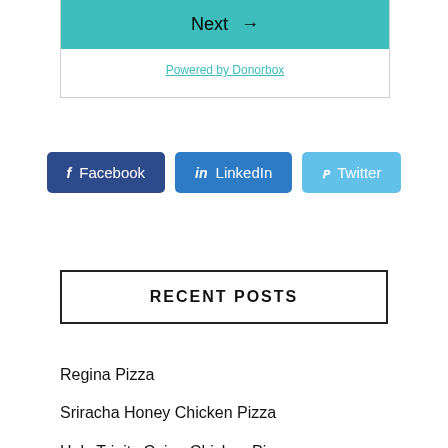[Figure (screenshot): Teal/turquoise Next button with right arrow, part of a Donorbox donation widget]
Powered by Donorbox
[Figure (infographic): Social share buttons: Facebook (dark blue), LinkedIn (medium blue), Twitter (light blue)]
RECENT POSTS
Regina Pizza
Sriracha Honey Chicken Pizza
Holy Trinity Cajun Chicken Pizza
Pepperoni Poutine Pizza